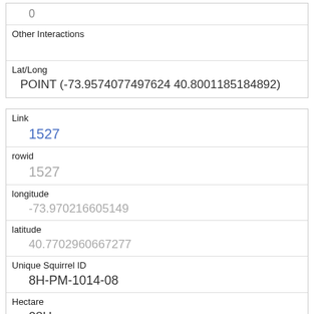| 0 |
| Other Interactions |  |
| Lat/Long | POINT (-73.9574077497624 40.8001185184892) |
| Link | 1527 |
| rowid | 1527 |
| longitude | -73.970216605149 |
| latitude | 40.7702960667277 |
| Unique Squirrel ID | 8H-PM-1014-08 |
| Hectare | 08H |
| Shift | PM |